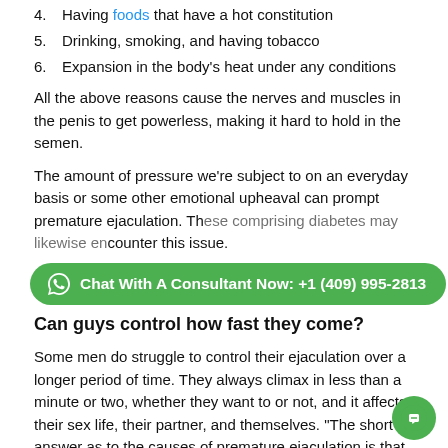4. Having foods that have a hot constitution
5. Drinking, smoking, and having tobacco
6. Expansion in the body's heat under any conditions
All the above reasons cause the nerves and muscles in the penis to get powerless, making it hard to hold in the semen.
The amount of pressure we're subject to on an everyday basis or some other emotional upheaval can prompt premature ejaculation. These comprising diabetes may likewise encounter this issue.
Chat With A Consultant Now: +1 (409) 995-2813
Can guys control how fast they come?
Some men do struggle to control their ejaculation over a longer period of time. They always climax in less than a minute or two, whether they want to or not, and it affects their sex life, their partner, and themselves. "The short answer as to the causes of premature ejaculation is that we don't know," says Jern.
How long should a man last before discharge?
[Figure (illustration): Green circular chat button with speech bubble icon in bottom right corner]